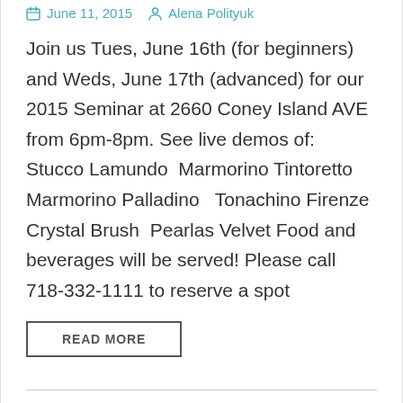June 11, 2015  Alena Polityuk
Join us Tues, June 16th (for beginners) and Weds, June 17th (advanced) for our 2015 Seminar at 2660 Coney Island AVE from 6pm-8pm. See live demos of: Stucco Lamundo  Marmorino Tintoretto  Marmorino Palladino   Tonachino Firenze  Crystal Brush  Pearlas Velvet Food and beverages will be served! Please call  718-332-1111 to reserve a spot
READ MORE